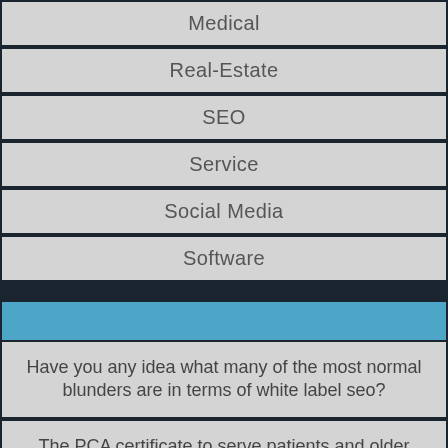Medical
Real-Estate
SEO
Service
Social Media
Software
Have you any idea what many of the most normal blunders are in terms of white label seo?
The PCA certificate to serve patients and older adults
Manual on Thai massage treatment and its practical use
Get The Best Casino Sites Online Here